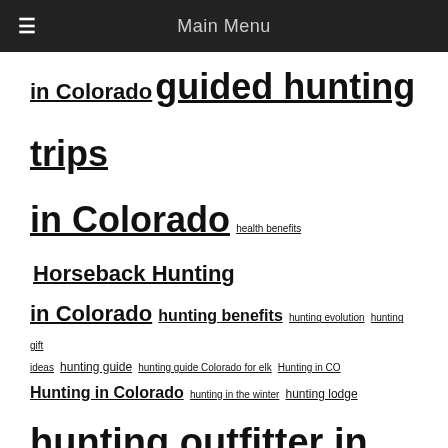≡  Main Menu
in Colorado guided hunting trips in Colorado health benefits Horseback Hunting in Colorado hunting benefits hunting evolution hunting gift ideas hunting guide hunting guide Colorado for elk Hunting in CO Hunting in Colorado hunting in the winter hunting lodge hunting outfitter in Colorado hunting safety tips hunting season 2014 hunting tips hunting trip Hunting Trips in Colorado is hunting good for the economy Miscellaneous More Elk Deer Animals For Hunters NRA training courses outdoor activities planning a hunting trip scenic horseback trips in colorado Sportsman Hunters stages of hunting The Five Stages of a Hunter's Evolution Tips Troubleome Basin Deer Hunting Troublesome Basin Troublesome Basin Elk Hunting Wilderness Experience in CO